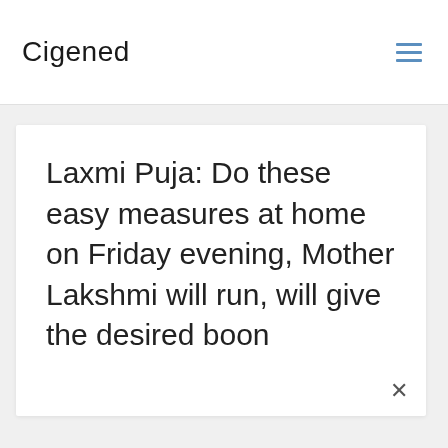Cigened
Laxmi Puja: Do these easy measures at home on Friday evening, Mother Lakshmi will run, will give the desired boon